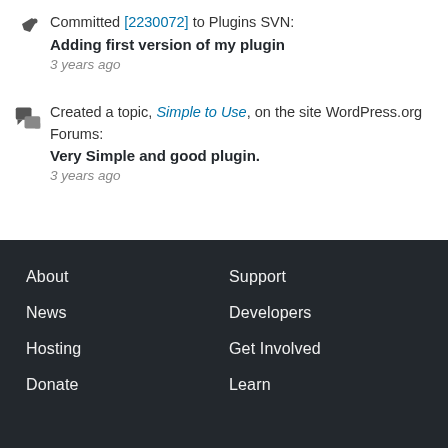Committed [2230072] to Plugins SVN:
Adding first version of my plugin
3 years ago
Created a topic, Simple to Use, on the site WordPress.org Forums:
Very Simple and good plugin.
3 years ago
About
Support
News
Developers
Hosting
Get Involved
Donate
Learn